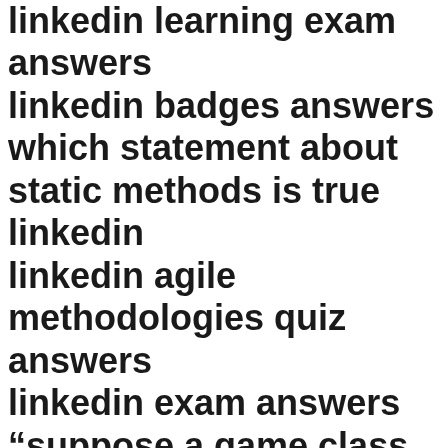linkedin learning exam answers linkedin badges answers which statement about static methods is true linkedin linkedin agile methodologies quiz answers linkedin exam answers "suppose a game class inherits from two parent classes: boardgame and logicgame. which statement is